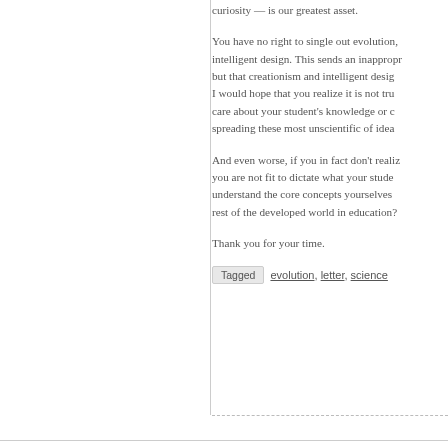curiosity — is our greatest asset.
You have no right to single out evolution, intelligent design. This sends an inappropriate message, but that creationism and intelligent design... I would hope that you realize it is not true care about your student's knowledge or spreading these most unscientific of ideas.
And even worse, if you in fact don't realize, you are not fit to dictate what your students understand the core concepts yourselves rest of the developed world in education?
Thank you for your time.
Tagged  evolution, letter, science